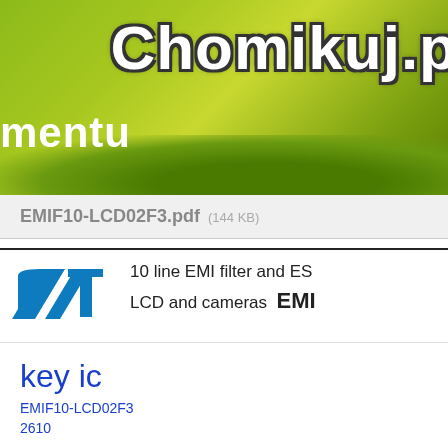[Figure (screenshot): Chomikuj.pl website banner with green gradient background showing partial text 'mentu' and 'Chomikuj.p' logo]
EMIF10-LCD02F3.pdf (144 KB)
[Figure (logo): STMicroelectronics ST logo in blue]
10 line EMI filter and ES... LCD and cameras EMI...
key ic
EMIF10-LCD02F3
2610